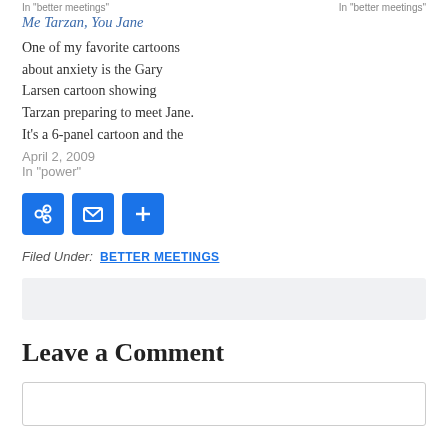In "better meetings"    In "better meetings"
Me Tarzan, You Jane
One of my favorite cartoons about anxiety is the Gary Larsen cartoon showing Tarzan preparing to meet Jane. It's a 6-panel cartoon and the
April 2, 2009
In "power"
[Figure (infographic): Three blue square icon buttons: a chain/link icon, an envelope/mail icon, and a plus/add icon]
Filed Under:  BETTER MEETINGS
[Figure (other): Light gray search/input box]
Leave a Comment
[Figure (other): White comment text input box with border]